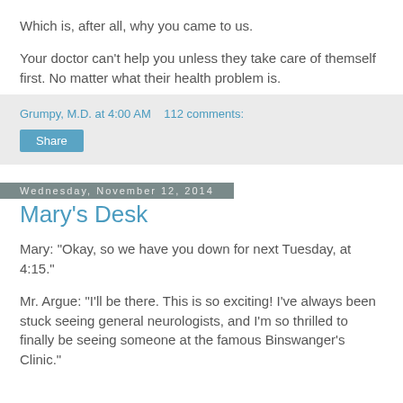Which is, after all, why you came to us.
Your doctor can't help you unless they take care of themself first. No matter what their health problem is.
Grumpy, M.D. at 4:00 AM    112 comments:
Share
Wednesday, November 12, 2014
Mary's Desk
Mary: "Okay, so we have you down for next Tuesday, at 4:15."
Mr. Argue: "I'll be there. This is so exciting! I've always been stuck seeing general neurologists, and I'm so thrilled to finally be seeing someone at the famous Binswanger's Clinic."